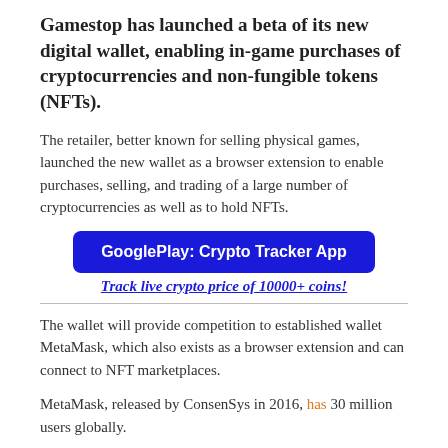Gamestop has launched a beta of its new digital wallet, enabling in-game purchases of cryptocurrencies and non-fungible tokens (NFTs).
The retailer, better known for selling physical games, launched the new wallet as a browser extension to enable purchases, selling, and trading of a large number of cryptocurrencies as well as to hold NFTs.
[Figure (other): Blue button: GooglePlay: Crypto Tracker App]
Track live crypto price of 10000+ coins!
The wallet will provide competition to established wallet MetaMask, which also exists as a browser extension and can connect to NFT marketplaces.
MetaMask, released by ConsenSys in 2016, has 30 million users globally.
A cryptocurrency wallet contains unique strings of numbers